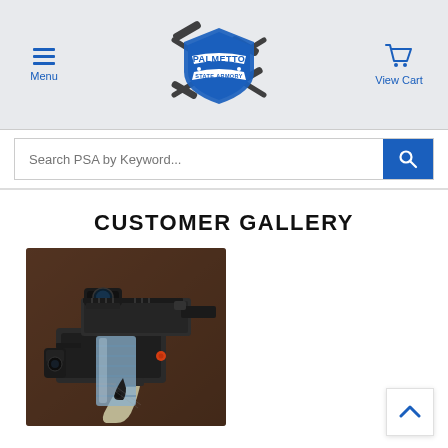Palmetto State Armory - Menu | Logo | View Cart
Search PSA by Keyword...
CUSTOMER GALLERY
[Figure (photo): Close-up photo of a black AR-style firearm with accessories including a red dot sight/optic, a translucent curved magazine, and other attachments. The firearm is resting on what appears to be a dark surface.]